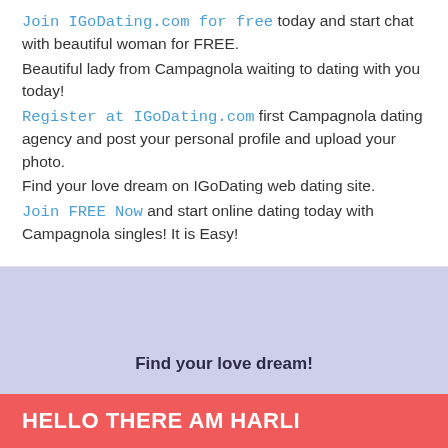Join IGoDating.com for free today and start chat with beautiful woman for FREE. Beautiful lady from Campagnola waiting to dating with you today! Register at IGoDating.com first Campagnola dating agency and post your personal profile and upload your photo. Find your love dream on IGoDating web dating site. Join FREE Now and start online dating today with Campagnola singles! It is Easy!
Find your love dream!
HELLO THERE AM HARLI